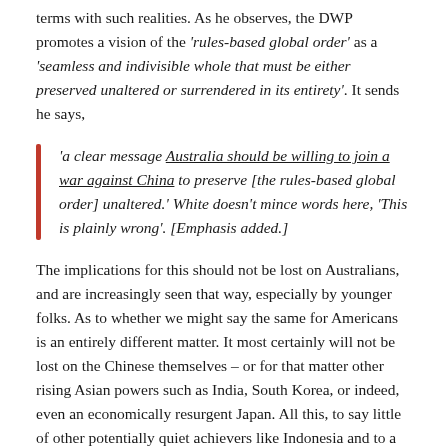terms with such realities. As he observes, the DWP promotes a vision of the 'rules-based global order' as a 'seamless and indivisible whole that must be either preserved unaltered or surrendered in its entirety'. It sends he says,
'a clear message Australia should be willing to join a war against China to preserve [the rules-based global order] unaltered.' White doesn't mince words here, 'This is plainly wrong'. [Emphasis added.]
The implications for this should not be lost on Australians, and are increasingly seen that way, especially by younger folks. As to whether we might say the same for Americans is an entirely different matter. It most certainly will not be lost on the Chinese themselves – or for that matter other rising Asian powers such as India, South Korea, or indeed, even an economically resurgent Japan. All this, to say little of other potentially quiet achievers like Indonesia and to a lesser extent, Vietnam.